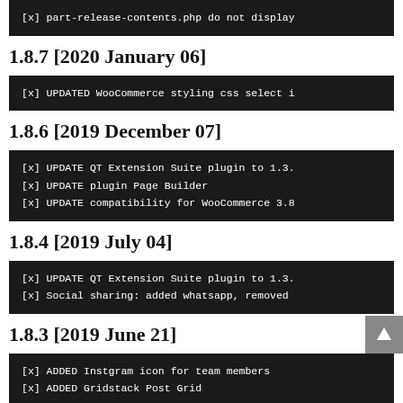[x] part-release-contents.php do not display
1.8.7 [2020 January 06]
[x] UPDATED WooCommerce styling css select i
1.8.6 [2019 December 07]
[x] UPDATE QT Extension Suite plugin to 1.3.
[x] UPDATE plugin Page Builder
[x] UPDATE compatibility for WooCommerce 3.8
1.8.4 [2019 July 04]
[x] UPDATE QT Extension Suite plugin to 1.3.
[x] Social sharing: added whatsapp, removed
1.8.3 [2019 June 21]
[x] ADDED Instgram icon for team members
[x] ADDED Gridstack Post Grid